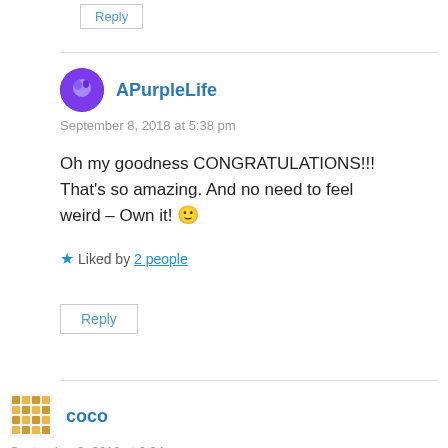Reply
APurpleLife
September 8, 2018 at 5:38 pm
Oh my goodness CONGRATULATIONS!!! That's so amazing. And no need to feel weird – Own it! 🙂
Liked by 2 people
Reply
coco
September 8, 2018 at 6:04 pm